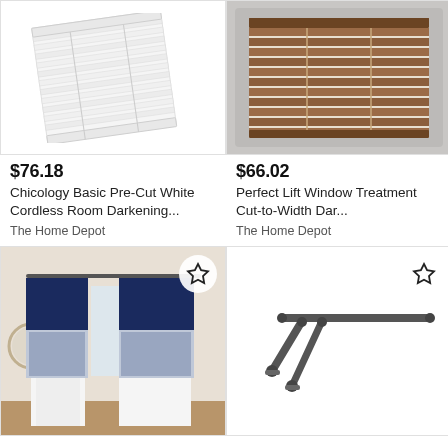[Figure (photo): White venetian window blind, shown at an angle on white background]
[Figure (photo): Brown/wood venetian blinds shown inside a gray window frame]
$76.18
Chicology Basic Pre-Cut White Cordless Room Darkening...
The Home Depot
$66.02
Perfect Lift Window Treatment Cut-to-Width Dar...
The Home Depot
[Figure (photo): Navy blue and white floral curtain panels hanging on a rod in a beige room with a mirror]
[Figure (photo): Metal corner curtain rod bracket/hardware on white background]